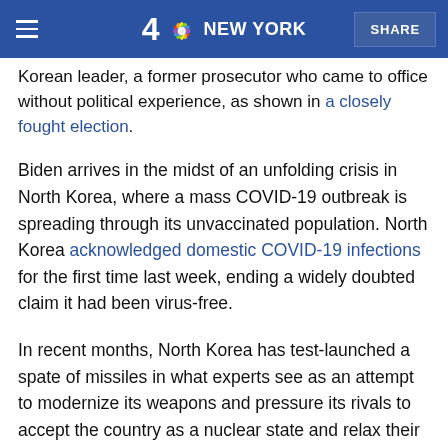4 NBC NEW YORK | SHARE
Korean leader, a former prosecutor who came to office without political experience, as shown in a closely fought election.
Biden arrives in the midst of an unfolding crisis in North Korea, where a mass COVID-19 outbreak is spreading through its unvaccinated population. North Korea acknowledged domestic COVID-19 infections for the first time last week, ending a widely doubted claim it had been virus-free.
In recent months, North Korea has test-launched a spate of missiles in what experts see as an attempt to modernize its weapons and pressure its rivals to accept the country as a nuclear state and relax their sanctions.
Sullivan said U.S. intelligence officials have determined